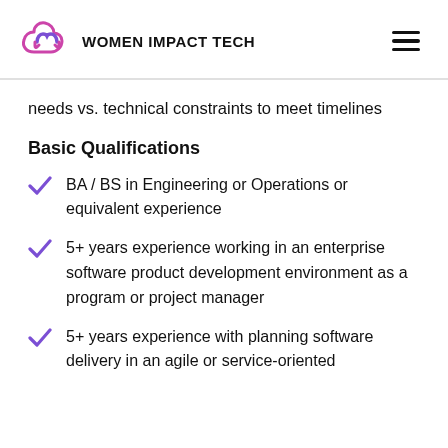WOMEN IMPACT TECH
needs vs. technical constraints to meet timelines
Basic Qualifications
BA / BS in Engineering or Operations or equivalent experience
5+ years experience working in an enterprise software product development environment as a program or project manager
5+ years experience with planning software delivery in an agile or service-oriented